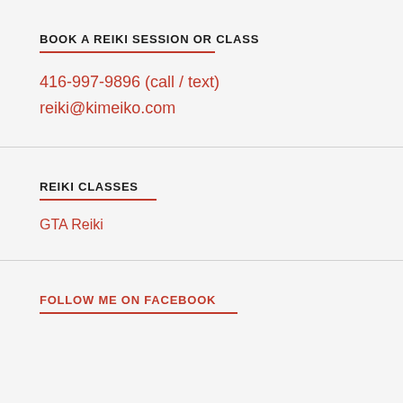BOOK A REIKI SESSION OR CLASS
416-997-9896 (call / text)
reiki@kimeiko.com
REIKI CLASSES
GTA Reiki
FOLLOW ME ON FACEBOOK